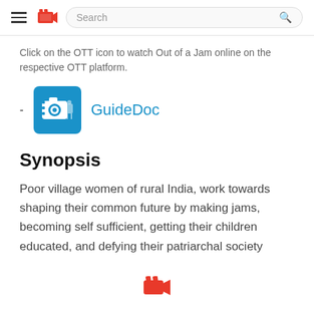Search
Click on the OTT icon to watch Out of a Jam online on the respective OTT platform.
- GuideDoc
Synopsis
Poor village women of rural India, work towards shaping their common future by making jams, becoming self sufficient, getting their children educated, and defying their patriarchal society